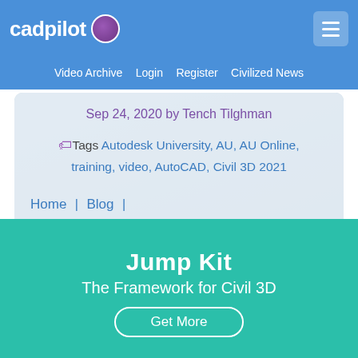cadpilot
Video Archive  Login  Register  Civilized News
Sep 24, 2020 by Tench Tilghman
Tags Autodesk University, AU, AU Online, training, video, AutoCAD, Civil 3D 2021
Home | Blog | Pack the Civil 3D Video Training Court
Jump Kit
The Framework for Civil 3D
Get More